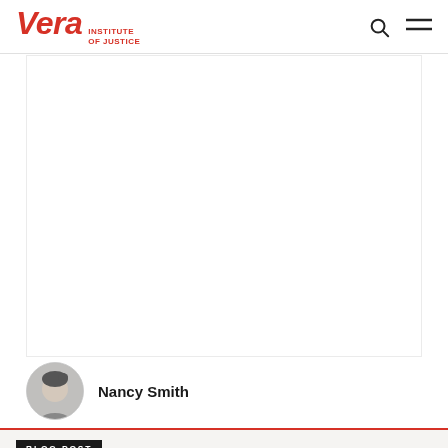Vera INSTITUTE OF JUSTICE
[Figure (photo): White/blank image area representing a hero photograph on the Vera Institute of Justice website, with a circular author portrait of Nancy Smith below it]
Nancy Smith
BLOG POST
Can we ignore what we can't see?